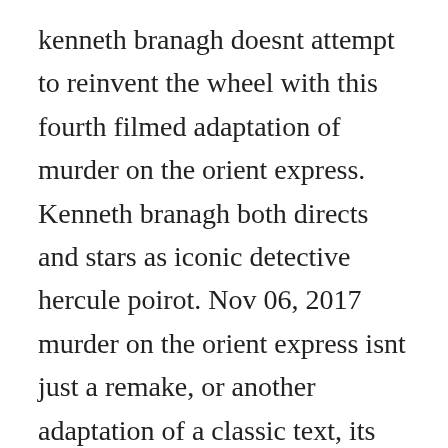kenneth branagh doesnt attempt to reinvent the wheel with this fourth filmed adaptation of murder on the orient express. Kenneth branagh both directs and stars as iconic detective hercule poirot. Nov 06, 2017 murder on the orient express isnt just a remake, or another adaptation of a classic text, its also undoubtedly an attempt to contemporise an incredibly well known piece of work, in this case agatha christies legendary 1934 detective novel featuring her most famed, irrepressible character. The bournemouth film school at aub is comprised of ba hons. Murder on the